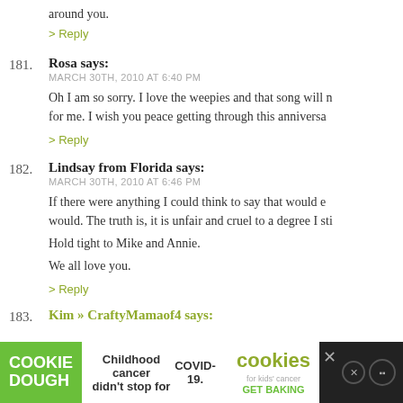around you.
> Reply
181. Rosa says: MARCH 30TH, 2010 AT 6:40 PM — Oh I am so sorry. I love the weepies and that song will n... for me. I wish you peace getting through this anniversa...
> Reply
182. Lindsay from Florida says: MARCH 30TH, 2010 AT 6:46 PM — If there were anything I could think to say that would e... would. The truth is, it is unfair and cruel to a degree I sti... Hold tight to Mike and Annie. We all love you.
> Reply
183. Kim » CraftyMamaof4 says:
Childhood cancer didn't stop for COVID-19. GET BAKING